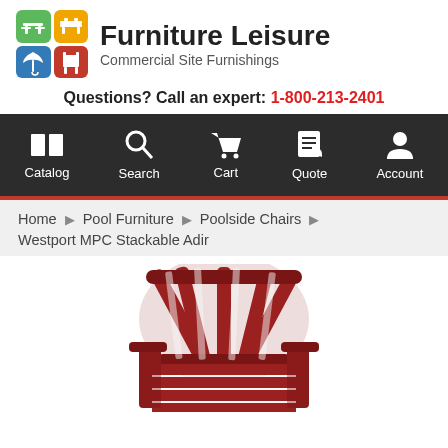[Figure (logo): Furniture Leisure logo with four colored icon tiles (green, orange, blue, red) showing outdoor furniture silhouettes, with company name and tagline]
Questions? Call an expert: 1-800-213-2401
[Figure (infographic): Dark navigation bar with icons and labels: Catalog, Search, Cart, Quote, Account]
Home > Pool Furniture > Poolside Chairs > Westport MPC Stackable Adir
[Figure (photo): Red Adirondack-style stackable chair (Westport MPC Stackable Adirondack chair) photographed from slightly above and to the side, showing slatted back and seat]